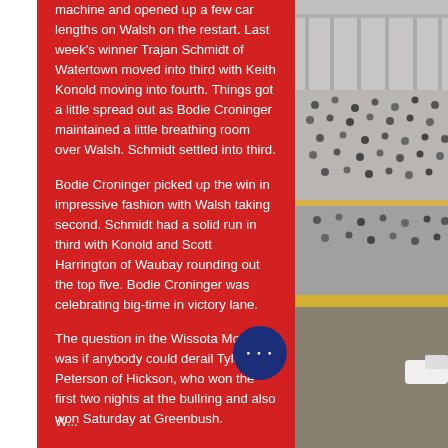machine and opened up a few car lengths on Walsh on the restart. Last week's winner Trajan Schmidt of Watertown moved into third with Keith Konold moving into fourth. Things got a little spread out as Bodie Croninger maintained a little breathing room over Walsh. Schmidt settled into third.
Bodie Croninger picked up the win in impressive fashion with Walsh taking second. Schmidt had a solid run in third with Konold and Scott Harrington of Waubay rounding out the top five. Bodie Croninger was celebrating big-time in victory lane.
The question in the Wissota Mods was if anybody could derail Tyler Peterson of Hickson, who won the first two nights at the bullring and also won Saturday at Greenbush.
[Figure (photo): Grandstand/bleachers at a racing venue with spectators, partial view on right side of page]